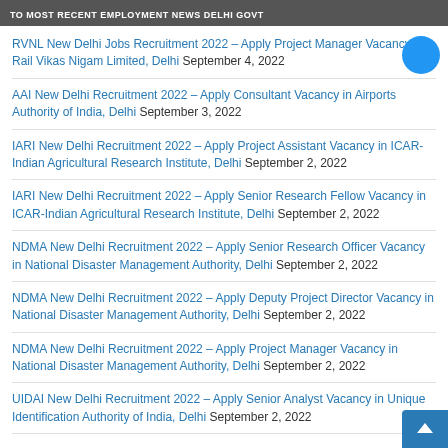TO MOST RECENT EMPLOYMENT NEWS DELHI GOVT
RVNL New Delhi Jobs Recruitment 2022 – Apply Project Manager Vacancy in Rail Vikas Nigam Limited, Delhi September 4, 2022
AAI New Delhi Recruitment 2022 – Apply Consultant Vacancy in Airports Authority of India, Delhi September 3, 2022
IARI New Delhi Recruitment 2022 – Apply Project Assistant Vacancy in ICAR-Indian Agricultural Research Institute, Delhi September 2, 2022
IARI New Delhi Recruitment 2022 – Apply Senior Research Fellow Vacancy in ICAR-Indian Agricultural Research Institute, Delhi September 2, 2022
NDMA New Delhi Recruitment 2022 – Apply Senior Research Officer Vacancy in National Disaster Management Authority, Delhi September 2, 2022
NDMA New Delhi Recruitment 2022 – Apply Deputy Project Director Vacancy in National Disaster Management Authority, Delhi September 2, 2022
NDMA New Delhi Recruitment 2022 – Apply Project Manager Vacancy in National Disaster Management Authority, Delhi September 2, 2022
UIDAI New Delhi Recruitment 2022 – Apply Senior Analyst Vacancy in Unique Identification Authority of India, Delhi September 2, 2022